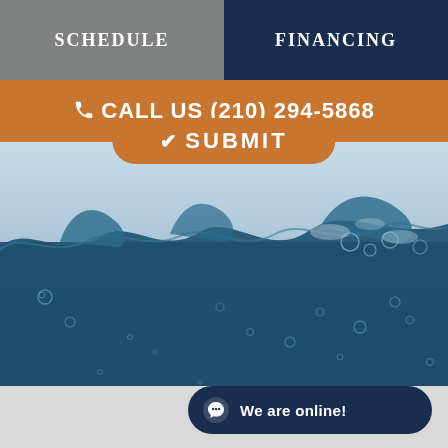SCHEDULE
FINANCING
CALL US (210) 294-5868
SUBMIT
[Figure (photo): Underwater water splash photo showing dark blue water surface with bubbles]
We are online!